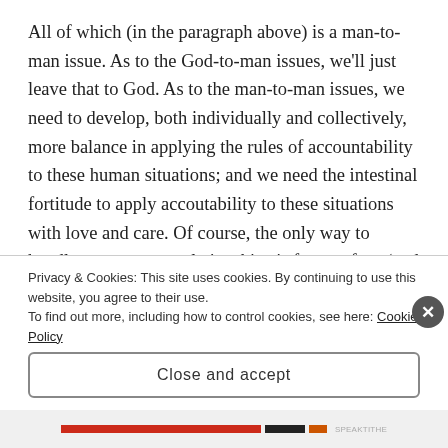All of which (in the paragraph above) is a man-to-man issue. As to the God-to-man issues, we'll just leave that to God. As to the man-to-man issues, we need to develop, both individually and collectively, more balance in applying the rules of accountability to these human situations; and we need the intestinal fortitude to apply accoutability to these situations with love and care. Of course, the only way to handle man-to-man relationships is face-to-face (and sometimes, mano-a-mano), as government's dismal failures amply displays. So, it's
Privacy & Cookies: This site uses cookies. By continuing to use this website, you agree to their use.
To find out more, including how to control cookies, see here: Cookie Policy
Close and accept